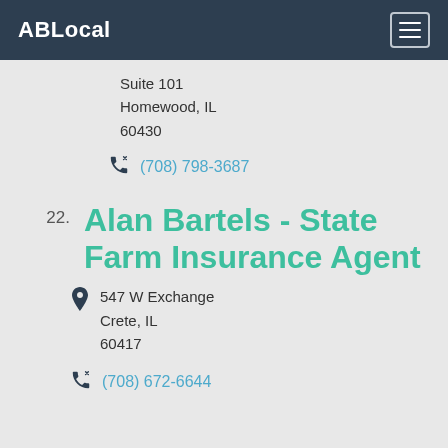ABLocal
Suite 101
Homewood, IL
60430
(708) 798-3687
22. Alan Bartels - State Farm Insurance Agent
547 W Exchange
Crete, IL
60417
(708) 672-6644